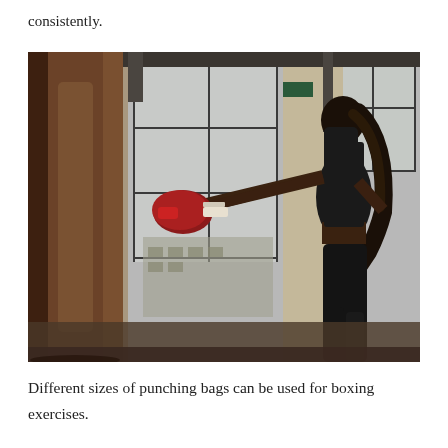consistently.
[Figure (photo): A woman wearing a black mask, black sports top and leggings, punching a large brown heavy punching bag with red boxing gloves in a gym with large industrial windows.]
Different sizes of punching bags can be used for boxing exercises.